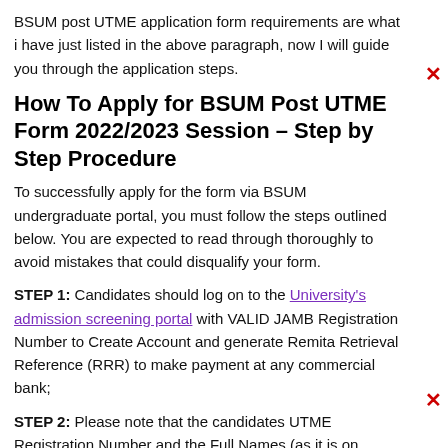BSUM post UTME application form requirements are what i have just listed in the above paragraph, now I will guide you through the application steps.
How To Apply for BSUM Post UTME Form 2022/2023 Session – Step by Step Procedure
To successfully apply for the form via BSUM undergraduate portal, you must follow the steps outlined below. You are expected to read through thoroughly to avoid mistakes that could disqualify your form.
STEP 1: Candidates should log on to the University's admission screening portal with VALID JAMB Registration Number to Create Account and generate Remita Retrieval Reference (RRR) to make payment at any commercial bank;
STEP 2: Please note that the candidates UTME Registration Number and the Full Names (as it is on JAMB Slip) should be correctly provided at the point of payment and registration.